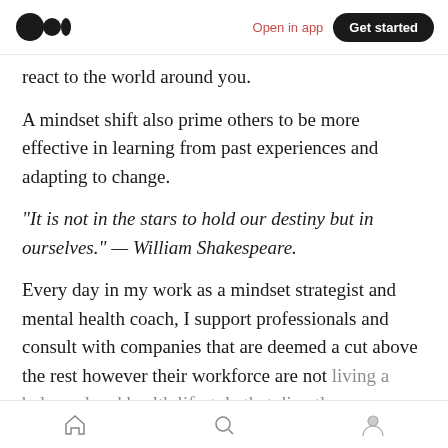Medium app navigation bar with logo, Open in app, Get started
react to the world around you.
A mindset shift also prime others to be more effective in learning from past experiences and adapting to change.
“It is not in the stars to hold our destiny but in ourselves.” — William Shakespeare.
Every day in my work as a mindset strategist and mental health coach, I support professionals and consult with companies that are deemed a cut above the rest however their workforce are not living a balanced and health lifestyle that directly
Bottom navigation bar with home, search, profile icons